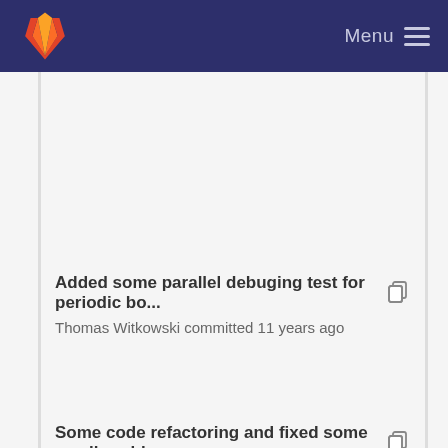[Figure (screenshot): GitLab navigation bar with orange/red fox logo on left and Menu with hamburger icon on right, dark navy background]
Added some parallel debuging test for periodic bo... Thomas Witkowski committed 11 years ago
Some code refactoring and fixed some small probl... Thomas Witkowski committed 11 years ago